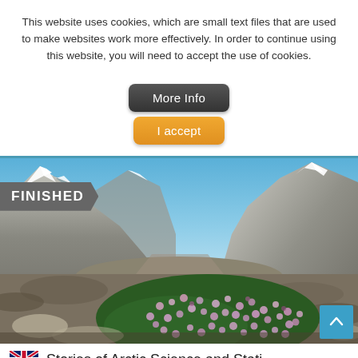This website uses cookies, which are small text files that are used to make websites work more effectively. In order to continue using this website, you will need to accept the use of cookies.
[Figure (screenshot): Two UI buttons: a dark grey rounded 'More Info' button and an orange rounded 'I accept' button, stacked vertically and centered]
[Figure (photo): Arctic landscape photograph showing snow-capped mountains under blue sky with pink/purple flowering plants (moss campion or similar arctic flowers) in the foreground on rocky tundra ground. A grey banner reading 'FINISHED' in white bold text appears in the upper left of the image, and a cyan scroll-to-top arrow button appears in the lower right corner.]
🇬🇧 Stories of Arctic Science and Stati...